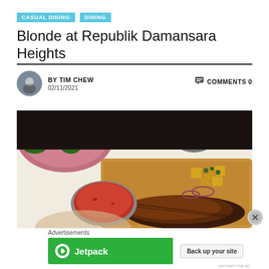CASUAL DINING
DINING
Blonde at Republik Damansara Heights
BY TIM CHEW
02/11/2021
COMMENTS 0
[Figure (photo): Food photo showing a steak on a wooden board with roasted potatoes, onions, a bowl of tomato sauce, a bowl of condiment, and a plate of salad with watermelon in the background]
Advertisements
[Figure (other): Jetpack advertisement banner with green background showing Jetpack logo and 'Back up your site' call-to-action button]